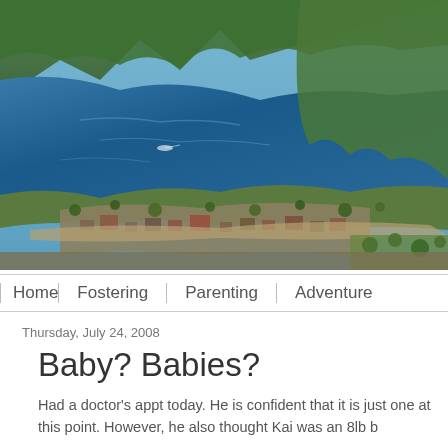[Figure (photo): Aerial photograph of a lake surrounded by mountains and forested shoreline with a small lakeside town visible in the lower portion of the image.]
Home | Fostering | Parenting | Adventure
Thursday, July 24, 2008
Baby? Babies?
Had a doctor's appt today. He is confident that it is just one at this point. However, he also thought Kai was an 8lb b